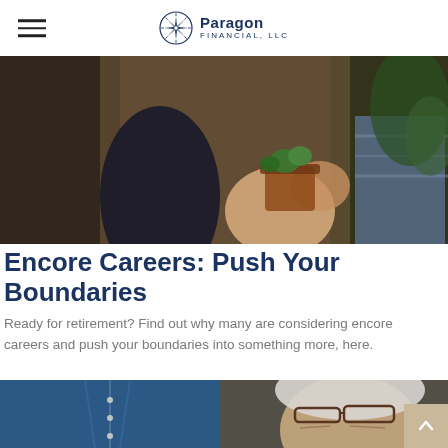Paragon Financial, LLC
[Figure (photo): Close-up photo of hands holding a small potted plant, with another person visible in background wearing a plaid shirt, with ferns in background]
Encore Careers: Push Your Boundaries
Ready for retirement? Find out why many are considering encore careers and push your boundaries into something more, here.
[Figure (photo): Close-up photo of an older man with white hair and glasses, wearing a blue denim shirt, looking down thoughtfully]